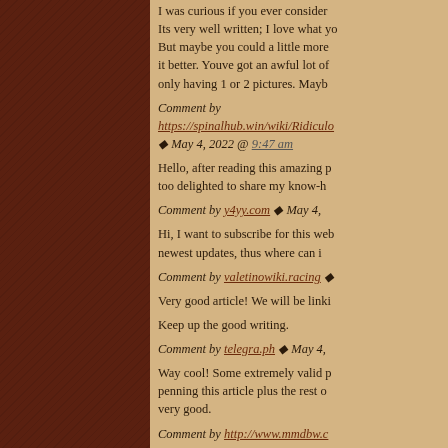I was curious if you ever consider Its very well written; I love what yo But maybe you could a little more it better. Youve got an awful lot of only having 1 or 2 pictures. Mayb
Comment by https://spinalhub.win/wiki/Ridiculo ◆ May 4, 2022 @ 9:47 am
Hello, after reading this amazing p too delighted to share my know-h
Comment by y4yy.com ◆ May 4,
Hi, I want to subscribe for this web newest updates, thus where can i
Comment by valetinowiki.racing ◆
Very good article! We will be linki
Keep up the good writing.
Comment by telegra.ph ◆ May 4,
Way cool! Some extremely valid p penning this article plus the rest o very good.
Comment by http://www.mmdbw.c
Greetings! Very helpful advice wit It is the little changes that produc